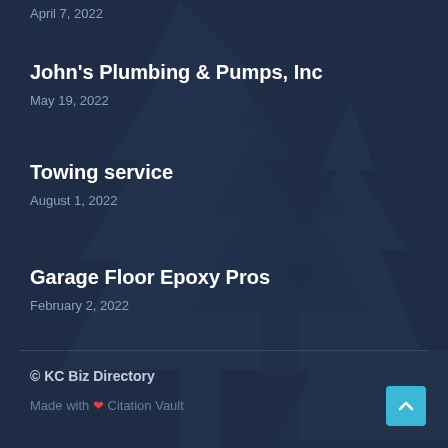April 7, 2022
John's Plumbing & Pumps, Inc
May 19, 2022
Towing service
August 1, 2022
Garage Floor Epoxy Pros
February 2, 2022
© KC Biz Directory
Made with ❤ Citation Vault